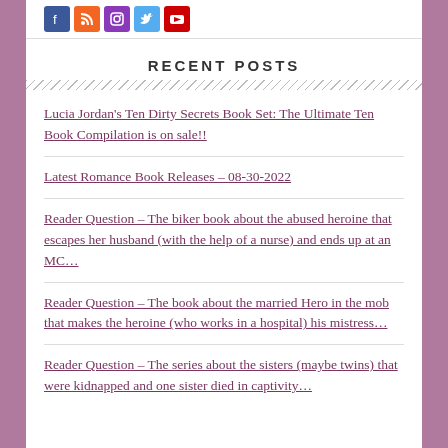[Figure (other): Social media icons: Facebook, RSS, Instagram, Twitter, YouTube]
RECENT POSTS
Lucia Jordan’s Ten Dirty Secrets Book Set: The Ultimate Ten Book Compilation is on sale!!
Latest Romance Book Releases – 08-30-2022
Reader Question – The biker book about the abused heroine that escapes her husband (with the help of a nurse) and ends up at an MC…
Reader Question – The book about the married Hero in the mob that makes the heroine (who works in a hospital) his mistress…
Reader Question – The series about the sisters (maybe twins) that were kidnapped and one sister died in captivity…